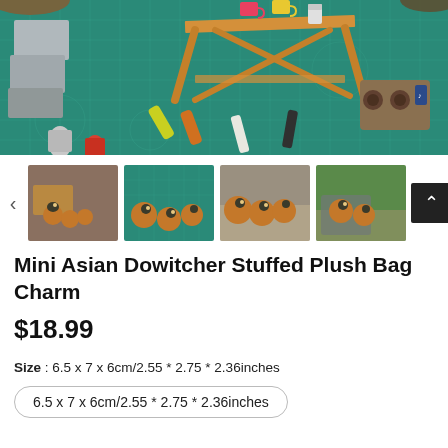[Figure (photo): Photo of miniature camping scene on a green cutting mat. A small wooden folding table with a pink mug, yellow mug, and soda can on top. Various mini cans and bottles scattered around, a mini speaker, and furry creature elements at the edges.]
[Figure (photo): Thumbnail 1: Small stuffed plush birds (Asian Dowitchers) near a miniature campfire and wooden table scene.]
[Figure (photo): Thumbnail 2: Multiple stuffed plush Asian Dowitcher birds on green cutting mat background.]
[Figure (photo): Thumbnail 3: Multiple stuffed plush Asian Dowitcher birds on a fabric surface.]
[Figure (photo): Thumbnail 4: Stuffed plush Asian Dowitcher birds on a rocky surface in natural outdoor setting.]
Mini Asian Dowitcher Stuffed Plush Bag Charm
$18.99
Size : 6.5 x 7 x 6cm/2.55 * 2.75 * 2.36inches
6.5 x 7 x 6cm/2.55 * 2.75 * 2.36inches